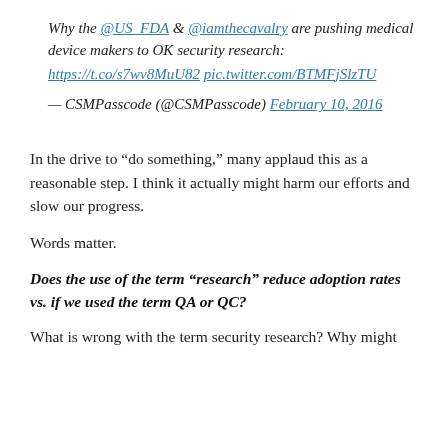Why the @US_FDA & @iamthecavalry are pushing medical device makers to OK security research: https://t.co/s7wv8MuU82 pic.twitter.com/BTMFjSlzTU
— CSMPasscode (@CSMPasscode) February 10, 2016
In the drive to “do something,” many applaud this as a reasonable step. I think it actually might harm our efforts and slow our progress.
Words matter.
Does the use of the term “research” reduce adoption rates vs. if we used the term QA or QC?
What is wrong with the term security research? Why might